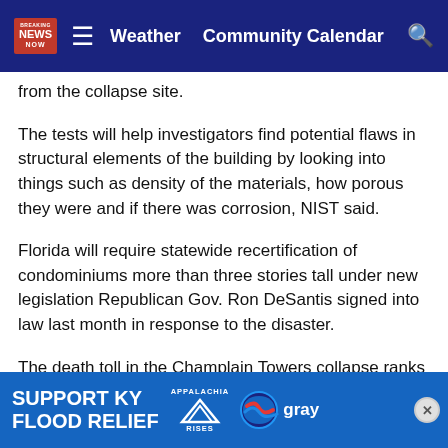News Now — Weather   Community Calendar
from the collapse site.
The tests will help investigators find potential flaws in structural elements of the building by looking into things such as density of the materials, how porous they were and if there was corrosion, NIST said.
Florida will require statewide recertification of condominiums more than three stories tall under new legislation Republican Gov. Ron DeSantis signed into law last month in response to the disaster.
The death toll in the Champlain Towers collapse ranks among the highest in U.S. history among similar disasters. The 1981 Hyatt Regency walkway collapse killed 114 people and a Massachusetts mill disaster in 1860 killed between
[Figure (other): Advertisement banner: SUPPORT KY FLOOD RELIEF with Appalachia Rises and Gray logos]